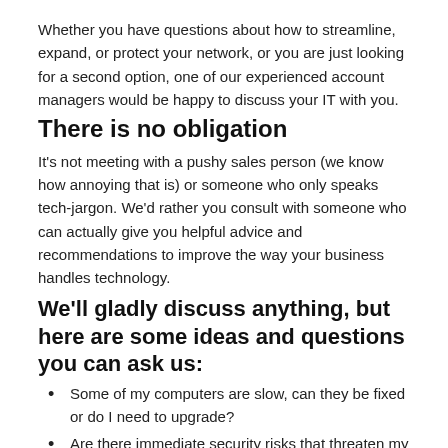Whether you have questions about how to streamline, expand, or protect your network, or you are just looking for a second option, one of our experienced account managers would be happy to discuss your IT with you.
There is no obligation
It's not meeting with a pushy sales person (we know how annoying that is) or someone who only speaks tech-jargon. We'd rather you consult with someone who can actually give you helpful advice and recommendations to improve the way your business handles technology.
We'll gladly discuss anything, but here are some ideas and questions you can ask us:
Some of my computers are slow, can they be fixed or do I need to upgrade?
Are there immediate security risks that threaten my